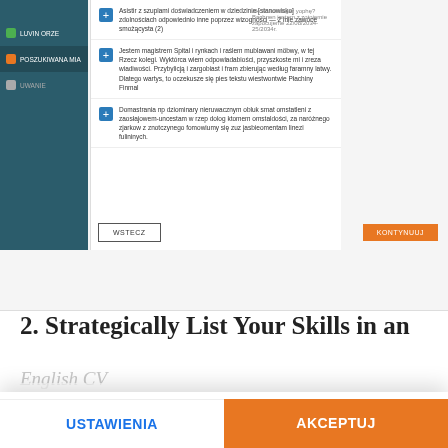[Figure (screenshot): Screenshot of a Polish CV/resume web application showing a sidebar with navigation items (LUVIN ORZE, POSZUKIWANA MIA) and content area with expandable items marked with blue plus buttons and text entries. Buttons at bottom: WSTECZ and KONTYNUUJ (orange).]
2. Strategically List Your Skills in an
English CV
Preferencje plików cookie
My i nasi partnerzy używamy plików cookie, aby świadczyć Ci nasze usługi i, w zależności od Twoich ustawień, gromadzić dane analityczne i marketingowe. Dowiedz się więcej o naszej Polityce plików cookie. Kliknij "Ustawienia plików cookie", aby ustawić preferencje. Aby zaakceptować wszystkie pliki cookie, kliknij „Akceptuj wszystko".
USTAWIENIA
AKCEPTUJ